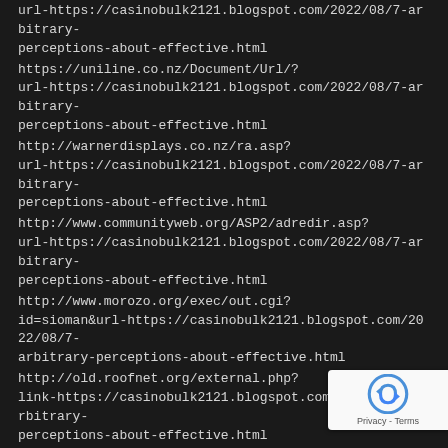url-https://casinobulk2121.blogspot.com/2022/08/7-arbitrary-perceptions-about-effective.html
https://uniline.co.nz/Document/Url/?url-https://casinobulk2121.blogspot.com/2022/08/7-arbitrary-perceptions-about-effective.html
http://warnerdisplays.co.nz/ra.asp?url-https://casinobulk2121.blogspot.com/2022/08/7-arbitrary-perceptions-about-effective.html
http://www.communityweb.org/ASP2/adredir.asp?url-https://casinobulk2121.blogspot.com/2022/08/7-arbitrary-perceptions-about-effective.html
http://www.morozo.org/exec/out.cgi?id=sioman&url-https://casinobulk2121.blogspot.com/2022/08/7-arbitrary-perceptions-about-effective.html
http://old.roofnet.org/external.php?link-https://casinobulk2121.blogspot.com/2022/08/7-arbitrary-perceptions-about-effective.html
http://www.forum-wodociagi.pl/system/links/3a337d509d017c7ca398d1623dfedf85.html?link-https://casinobulk2121.blogspot.com/2022/08/7-arbitrary-perceptions-about-effective.html
http://www.bucatareasa.ro/link.php?url-https://casinobulk2121.blogspot.com/2022/08/7-arbitrary-perceptions-about-effective.html
[Figure (logo): Google reCAPTCHA badge with logo and Privacy - Terms text]